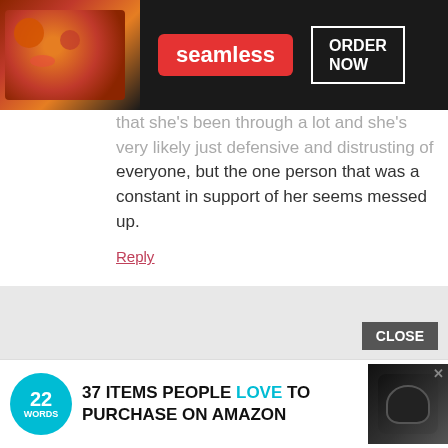[Figure (screenshot): Seamless food delivery ad banner with pizza image, seamless logo in red, and ORDER NOW button]
that she's been through a lot and she's very likely just defensive and distrusting of everyone, but the one person that was a constant in support of her seems messed up.
Reply
[Figure (photo): Avatar photo of wandamariap, a person with a small white dog]
wandamariap says June 14, 2019 at 11:14 am
CLOSE
[Figure (screenshot): Bottom ad bar: 22 Words logo, text '37 ITEMS PEOPLE LOVE TO PURCHASE ON AMAZON', earbuds product image with X close button]